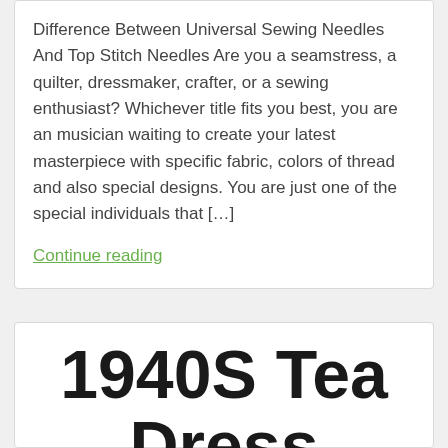Difference Between Universal Sewing Needles And Top Stitch Needles Are you a seamstress, a quilter, dressmaker, crafter, or a sewing enthusiast? Whichever title fits you best, you are an musician waiting to create your latest masterpiece with specific fabric, colors of thread and also special designs. You are just one of the special individuals that […]
Continue reading
1940S Tea Dress Sewing Patter F...